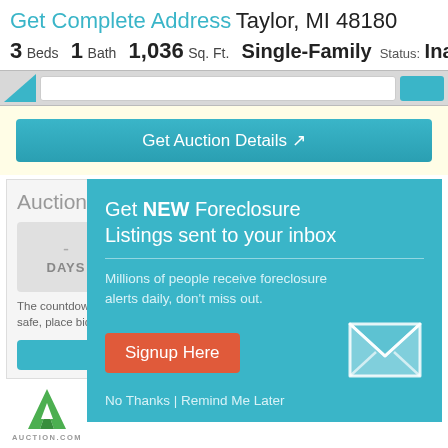Get Complete Address Taylor, MI 48180
3 Beds  1 Bath  1,036 Sq. Ft.  Single-Family  Status: Inactive
[Figure (screenshot): Navigation bar with tabs and blue button]
Get Auction Details [external link icon]
Auction T... (Auction Timer box) - DAYS
The countdown is... safe, place bids 2...
[Figure (infographic): Popup overlay: Get NEW Foreclosure Listings sent to your inbox. Millions of people receive foreclosure alerts daily, don't miss out. Signup Here button. No Thanks | Remind Me Later]
[Figure (logo): Auction.com logo with green A icon and AUCTION.COM text]
To participate in the event, please visit Auction.com for more information. Whether you're looking for your next investment or a